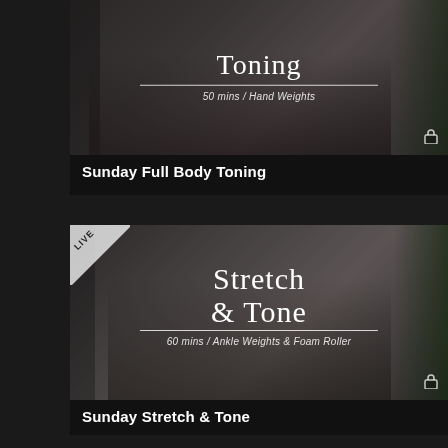[Figure (screenshot): Workout video thumbnail: woman lying on mat doing leg raise. Title 'Toning', subtitle '50 mins / Hand Weights'. Lock icon bottom right.]
Sunday Full Body Toning
[Figure (screenshot): Workout video thumbnail with LIVE badge: woman in side plank on mat. Title 'Stretch & Tone', subtitle '60 mins / Ankle Weights & Foam Roller'. Lock icon bottom right.]
Sunday Stretch & Tone